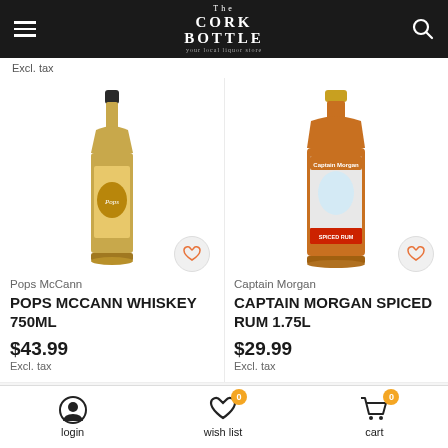The Cork Bottle
Excl. tax
[Figure (photo): Bottle of Pops McCann Whiskey 750ml with golden label]
Pops McCann
POPS MCCANN WHISKEY 750ML
$43.99
Excl. tax
[Figure (photo): Bottle of Captain Morgan Spiced Rum 1.75L with red and white label]
Captain Morgan
CAPTAIN MORGAN SPICED RUM 1.75L
$29.99
Excl. tax
login   wish list   cart